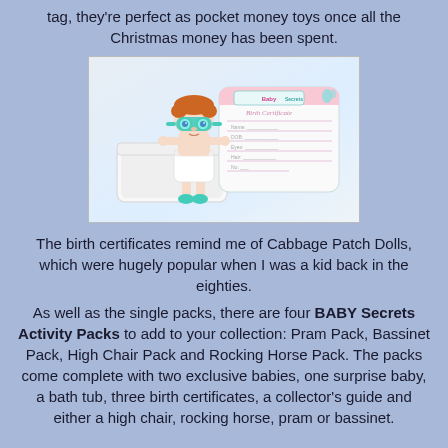tag, they're perfect as pocket money toys once all the Christmas money has been spent.
[Figure (photo): A small baby doll toy figure wearing a green mask/goggles and diaper, standing in front of a white bathtub and a pink/teal Baby Secrets birth certificate card.]
The birth certificates remind me of Cabbage Patch Dolls, which were hugely popular when I was a kid back in the eighties.
As well as the single packs, there are four BABY Secrets Activity Packs to add to your collection: Pram Pack, Bassinet Pack, High Chair Pack and Rocking Horse Pack. The packs come complete with two exclusive babies, one surprise baby, a bath tub, three birth certificates, a collector's guide and either a high chair, rocking horse, pram or bassinet.